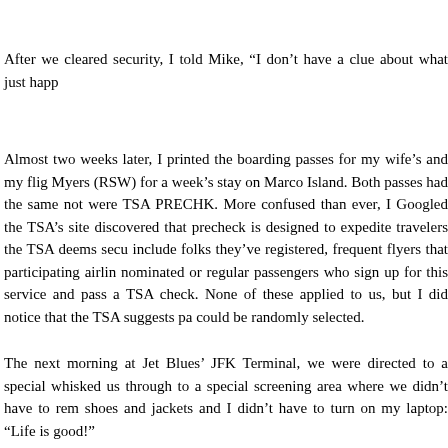After we cleared security, I told Mike, “I don’t have a clue about what just happ
Almost two weeks later, I printed the boarding passes for my wife’s and my flig Myers (RSW) for a week’s stay on Marco Island. Both passes had the same not were TSA PRECHK. More confused than ever, I Googled the TSA’s site discovered that precheck is designed to expedite travelers the TSA deems secu include folks they’ve registered, frequent flyers that participating airlin nominated or regular passengers who sign up for this service and pass a TSA check. None of these applied to us, but I did notice that the TSA suggests pa could be randomly selected.
The next morning at Jet Blues’ JFK Terminal, we were directed to a special whisked us through to a special screening area where we didn’t have to rem shoes and jackets and I didn’t have to turn on my laptop: “Life is good!”